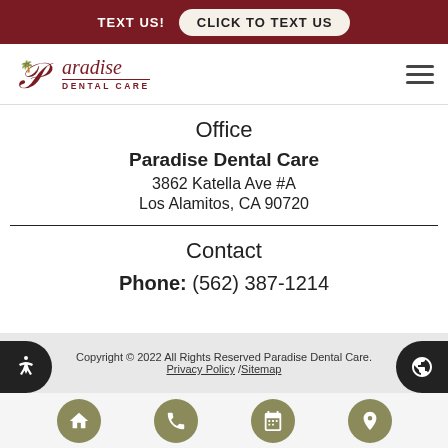TEXT US! CLICK TO TEXT US
[Figure (logo): Paradise Dental Care logo with palm tree graphic]
Office
Paradise Dental Care
3862 Katella Ave #A
Los Alamitos, CA 90720
Contact
Phone: (562) 387-1214
Copyright © 2022 All Rights Reserved Paradise Dental Care.
Privacy Policy /Sitemap